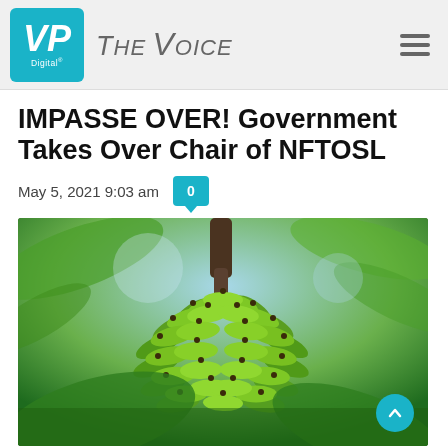VP Digital / THE VOICE
IMPASSE OVER! Government Takes Over Chair of NFTOSL
May 5, 2021 9:03 am
[Figure (photo): Close-up photograph of a bunch of green unripe bananas on a banana plant with blurred green foliage in the background]